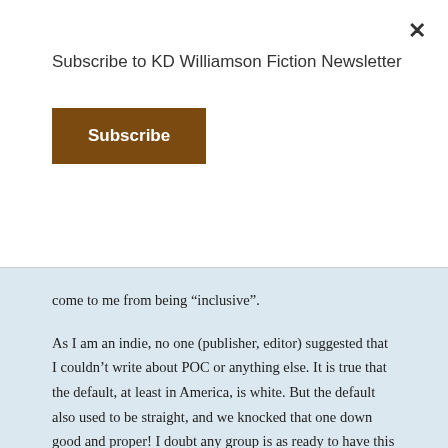Subscribe to KD Williamson Fiction Newsletter
Subscribe
come to me from being “inclusive”.
As I am an indie, no one (publisher, editor) suggested that I couldn’t write about POC or anything else. It is true that the default, at least in America, is white. But the default also used to be straight, and we knocked that one down good and proper! I doubt any group is as ready to have this conversation as we are.
I think many white writers don’t write POC characters for fear of getting it wrong. My story is set in the Bronze Age, so it would be difficult for anyone to object how I portrayed my POC characters. But